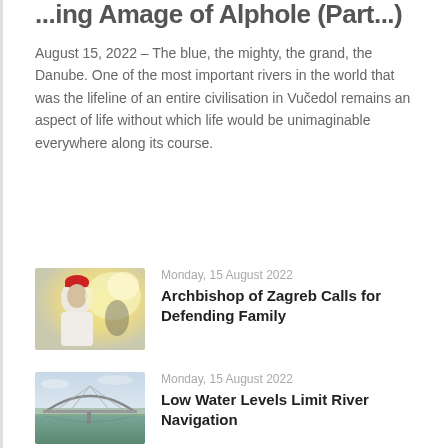...ing Amage of Alphole (Part...)
August 15, 2022 – The blue, the mighty, the grand, the Danube. One of the most important rivers in the world that was the lifeline of an entire civilisation in Vučedol remains an aspect of life without which life would be unimaginable everywhere along its course.
[Figure (photo): Photo of a person wearing red and white religious vestments with a blurred bright background]
Monday, 15 August 2022
Archbishop of Zagreb Calls for Defending Family
[Figure (photo): Photo of a bridge over a river with green water and sky]
Monday, 15 August 2022
Low Water Levels Limit River Navigation